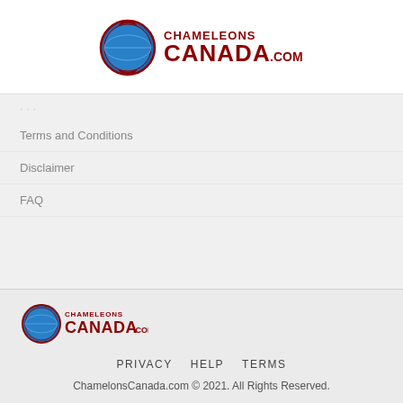[Figure (logo): ChamelonsCanada.com logo with circular emblem and red text]
· · ·
Terms and Conditions
Disclaimer
FAQ
[Figure (logo): ChamelonsCanada.com small footer logo]
PRIVACY   HELP   TERMS
ChamelonsCanada.com © 2021. All Rights Reserved.